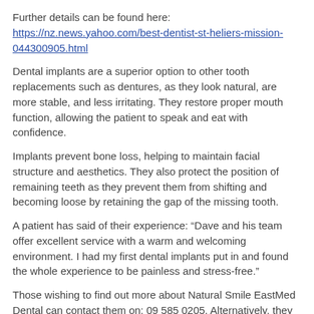Further details can be found here:
https://nz.news.yahoo.com/best-dentist-st-heliers-mission-044300905.html
Dental implants are a superior option to other tooth replacements such as dentures, as they look natural, are more stable, and less irritating. They restore proper mouth function, allowing the patient to speak and eat with confidence.
Implants prevent bone loss, helping to maintain facial structure and aesthetics. They also protect the position of remaining teeth as they prevent them from shifting and becoming loose by retaining the gap of the missing tooth.
A patient has said of their experience: “Dave and his team offer excellent service with a warm and welcoming environment. I had my first dental implants put in and found the whole experience to be painless and stress-free.”
Those wishing to find out more about Natural Smile EastMed Dental can contact them on: 09 585 0205. Alternatively, they can also visit the website here: https://naturalsmile.nz/dentist-st-heliers